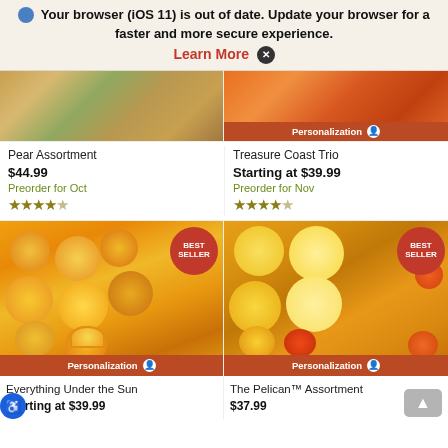Your browser (iOS 11) is out of date. Update your browser for a faster and more secure experience. Learn More ✕
[Figure (screenshot): Partial product image of Pear Assortment — fruits on wooden board]
[Figure (screenshot): Partial product image of Treasure Coast Trio — orange slices, Personalization bar]
Pear Assortment
$44.99
Preorder for Oct
★★★★½
Treasure Coast Trio
Starting at $39.99
Preorder for Nov
★★★★½
[Figure (photo): Everything Under the Sun product — box of oranges and grapefruits, BEST SELLER badge, Personalization bar]
[Figure (photo): The Pelican Assortment product — box of mixed citrus, BEST SELLER badge, Personalization bar]
Everything Under the Sun
Starting at $39.99
The Pelican™ Assortment
$37.99